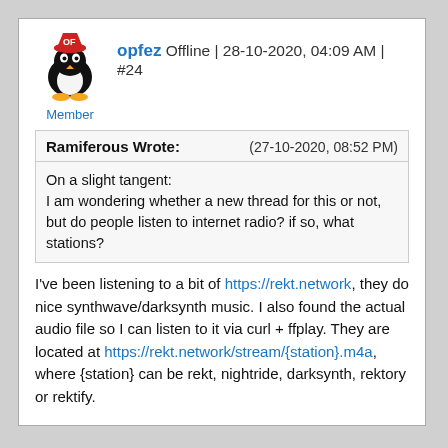[Figure (illustration): Forum user avatar: Linux penguin (Tux) wearing a red cap with 'OF' text on it, with yellow feet]
Member
opfez Offline | 28-10-2020, 04:09 AM | #24
| Ramiferous Wrote: | (27-10-2020, 08:52 PM) |
| On a slight tangent:
I am wondering whether a new thread for this or not, but do people listen to internet radio? if so, what stations? |  |
I've been listening to a bit of https://rekt.network, they do nice synthwave/darksynth music. I also found the actual audio file so I can listen to it via curl + ffplay. They are located at https://rekt.network/stream/{station}.m4a, where {station} can be rekt, nightride, darksynth, rektory or rektify.